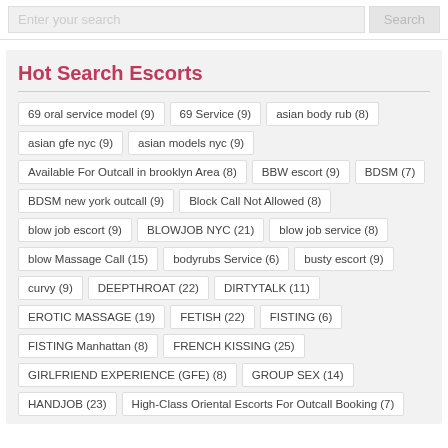Hot Search Escorts
69 oral service model (9)
69 Service (9)
asian body rub (8)
asian gfe nyc (9)
asian models nyc (9)
Available For Outcall in brooklyn Area (8)
BBW escort (9)
BDSM (7)
BDSM new york outcall (9)
Block Call Not Allowed (8)
blow job escort (9)
BLOWJOB NYC (21)
blow job service (8)
blow Massage Call (15)
bodyrubs Service (6)
busty escort (9)
curvy (9)
DEEPTHROAT (22)
DIRTYTALK (11)
EROTIC MASSAGE (19)
FETISH (22)
FISTING (6)
FISTING Manhattan (8)
FRENCH KISSING (25)
GIRLFRIEND EXPERIENCE (GFE) (8)
GROUP SEX (14)
HANDJOB (23)
High-Class Oriental Escorts For Outcall Booking (7)